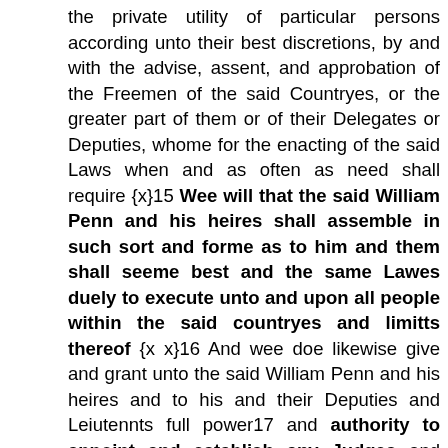the private utility of particular persons according unto their best discretions, by and with the advise, assent, and approbation of the Freemen of the said Countryes, or the greater part of them or of their Delegates or Deputies, whome for the enacting of the said Laws when and as often as need shall require {x}15 Wee will that the said William Penn and his heires shall assemble in such sort and forme as to him and them shall seeme best and the same Lawes duely to execute unto and upon all people within the said countryes and limitts thereof {x x}16 And wee doe likewise give and grant unto the said William Penn and his heires and to his and their Deputies and Leiutennts full power17 and authority to appoint and establish any Judges and Justices, Magistrates, and officers whatsoever for what Causes soever for the probates of wills and for the granting of Administrations within the precincts aforesaid and with what power soever and in such forme as {to} the said William Penn or his heires shall seeme most convenient Alsoe to remit, release, pardon, and abolish, whether before Judgment